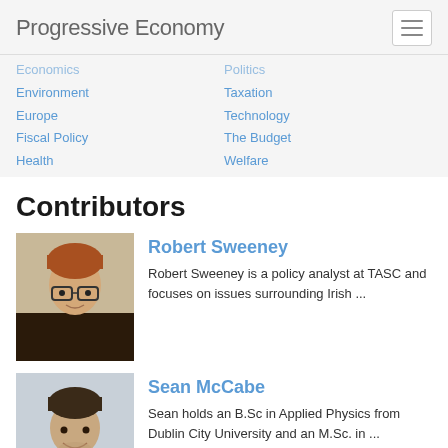Progressive Economy
Economics (truncated)
Environment
Europe
Fiscal Policy
Health
Politics (truncated)
Taxation
Technology
The Budget
Welfare
Contributors
Robert Sweeney
Robert Sweeney is a policy analyst at TASC and focuses on issues surrounding Irish ...
[Figure (photo): Headshot of Robert Sweeney, a young man with auburn hair and glasses]
Sean McCabe
Sean holds an B.Sc in Applied Physics from Dublin City University and an M.Sc. in ...
[Figure (photo): Headshot of Sean McCabe, a man with dark hair smiling]
Vic Duggan
[Figure (photo): Headshot of Vic Duggan, partially visible at bottom of page]